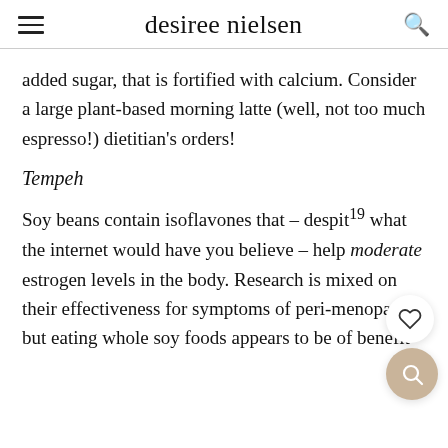desiree nielsen
added sugar, that is fortified with calcium. Consider a large plant-based morning latte (well, not too much espresso!) dietitian's orders!
Tempeh
Soy beans contain isoflavones that – despite what the internet would have you believe – help moderate estrogen levels in the body. Research is mixed on their effectiveness for symptoms of peri-menopause but eating whole soy foods appears to be of benefit